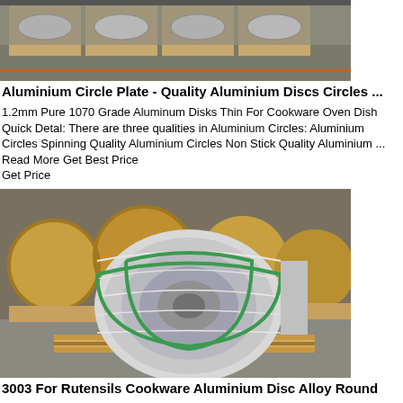[Figure (photo): Warehouse photo showing aluminium circle plates/discs on pallets, partial top view]
Aluminium Circle Plate - Quality Aluminium Discs Circles ...
1.2mm Pure 1070 Grade Aluminum Disks Thin For Cookware Oven Dish Quick Detal: There are three qualities in Aluminium Circles: Aluminium Circles Spinning Quality Aluminium Circles Non Stick Quality Aluminium ... Read More Get Best Price
Get Price
[Figure (photo): Warehouse photo showing large rolls of aluminium coil/sheet on wooden pallets, with cardboard-wrapped rolls in background]
3003 For Rutensils Cookware Aluminium Disc Alloy Round
3003 DC Aluminum Round Circle Discs For Cooking Ware. Introduction Of 1100 aluminum 1100 aluminium alloy is an aluminium-based alloy in the wrought family (1000 or 1xxx series). ... Disc For Kitchen Utensils.